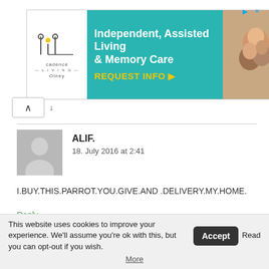[Figure (other): Advertisement banner for Cadence Living Olney - Independent, Assisted Living & Memory Care with REQUEST INFO call to action button on teal background]
ALIF.
18. July 2016 at 2:41
I.BUY.THIS.PARROT.YOU.GIVE.AND .DELIVERY.MY.HOME.
Reply ↓
kellybells
This website uses cookies to improve your experience. We'll assume you're ok with this, but you can opt-out if you wish. Accept Read More